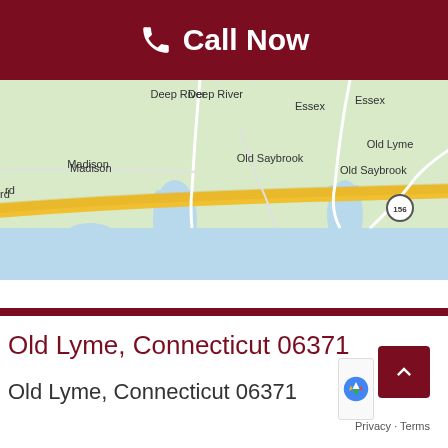Call Now
[Figure (map): Google Maps showing Connecticut shoreline area including Madison, Old Saybrook, Old Lyme, Essex, East Lyme, New London, with route markers 1 and 156 visible. Shows coastal waterways and road network.]
Old Lyme, Connecticut 06371
Old Lyme, Connecticut 06371